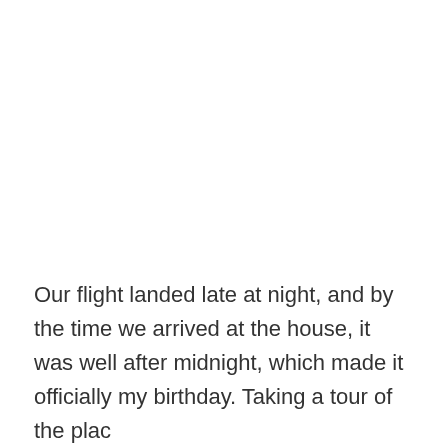Our flight landed late at night, and by the time we arrived at the house, it was well after midnight, which made it officially my birthday. Taking a tour of the plac